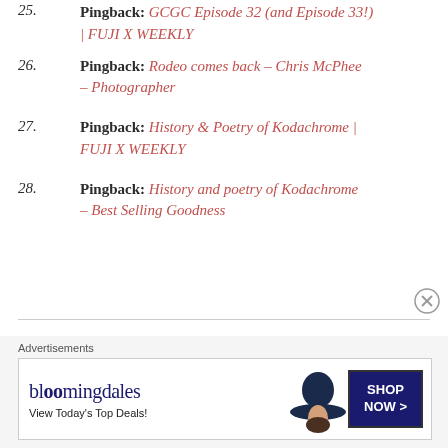Pingback: GCGC Episode 32 (and Episode 33!) | FUJI X WEEKLY
26. Pingback: Rodeo comes back – Chris McPhee – Photographer
27. Pingback: History & Poetry of Kodachrome | FUJI X WEEKLY
28. Pingback: History and poetry of Kodachrome – Best Selling Goodness
[Figure (infographic): Bloomingdale's advertisement banner with text 'View Today's Top Deals!' and 'SHOP NOW >' button, with image of woman in wide-brim hat.]